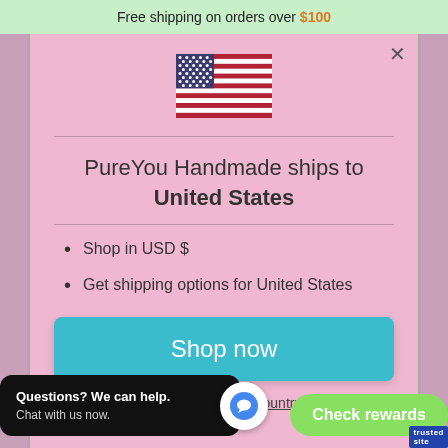Free shipping on orders over $100
[Figure (illustration): US flag icon — stars and stripes, rectangular flag]
PureYou Handmade ships to United States
Shop in USD $
Get shipping options for United States
Shop now
Change shipping country
Questions? We can help. Chat with us now.
Check rewards